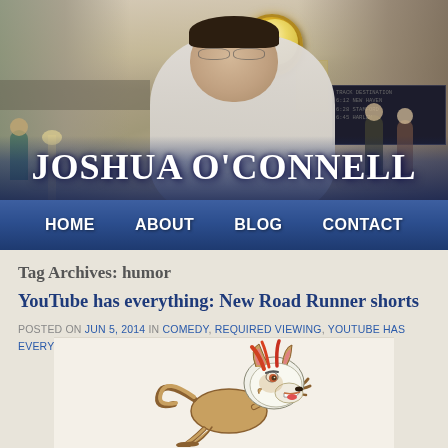[Figure (photo): Header photo of Joshua O'Connell standing in Grand Central Terminal with a large golden clock visible in the background. He is a heavyset man with dark hair and glasses, wearing a light blue/white button-up shirt.]
JOSHUA O'CONNELL
HOME  ABOUT  BLOG  CONTACT
Tag Archives: humor
YouTube has everything: New Road Runner shorts
POSTED ON JUN 5, 2014 IN COMEDY, REQUIRED VIEWING, YOUTUBE HAS EVERYTHING | 1 REPLY
[Figure (illustration): Cartoon illustration of Wile E. Coyote running, shown on a white background at the bottom of the page.]